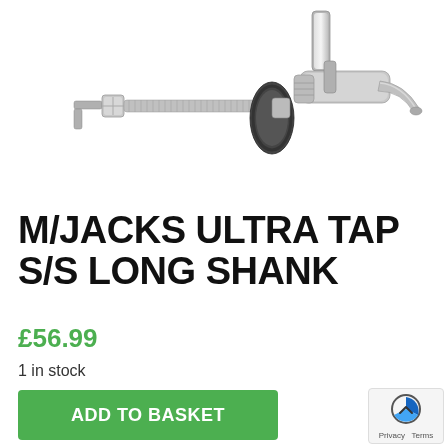[Figure (photo): Product photo showing a stainless steel beer tap shank assembly with a long threaded shank, mounting flange with gasket on the left, and a chrome beer faucet tap on the right against a white background.]
M/JACKS ULTRA TAP S/S LONG SHANK
£56.99
1 in stock
ADD TO BASKET